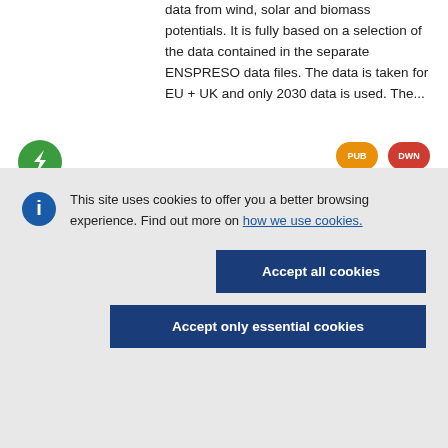data from wind, solar and biomass potentials. It is fully based on a selection of the data contained in the separate ENSPRESO data files. The data is taken for EU + UK and only 2030 data is used. The...
[Figure (logo): Green circular icon with a lightning bolt or arrow symbol]
PUB
DWN
This site uses cookies to offer you a better browsing experience. Find out more on how we use cookies.
Accept all cookies
Accept only essential cookies